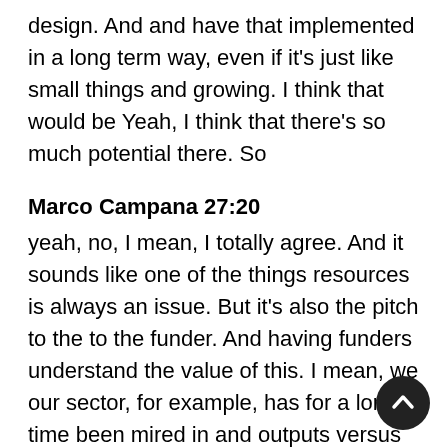design. And and have that implemented in a long term way, even if it's just like small things and growing. I think that would be Yeah, I think that there's so much potential there. So
Marco Campana 27:20
yeah, no, I mean, I totally agree. And it sounds like one of the things resources is always an issue. But it's also the pitch to the to the funder. And having funders understand the value of this. I mean, we our sector, for example, has for a long time been mired in and outputs versus outcomes kind of service delivery model. And probably for I mean, forever, but formally for the last decade, I would say, and definitely since the last sort of huge national call for proposals, the funder, the funder itself, the main funder, the Federal funders, talking about outcomes right, and clients interested in its using the right language, and things like that. So that you have to show that you're oriented and how to show the right kind of things. But let me add